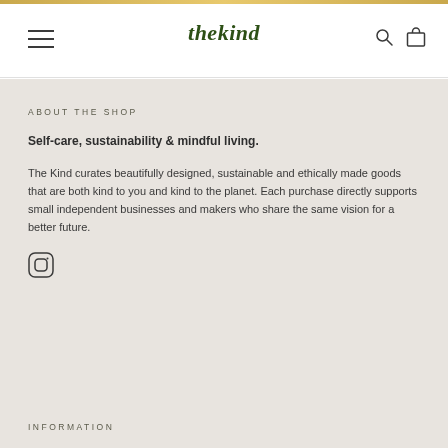thekind
ABOUT THE SHOP
Self-care, sustainability & mindful living.
The Kind curates beautifully designed, sustainable and ethically made goods that are both kind to you and kind to the planet. Each purchase directly supports small independent businesses and makers who share the same vision for a better future.
[Figure (illustration): Instagram icon - circle with rounded square camera icon inside]
INFORMATION